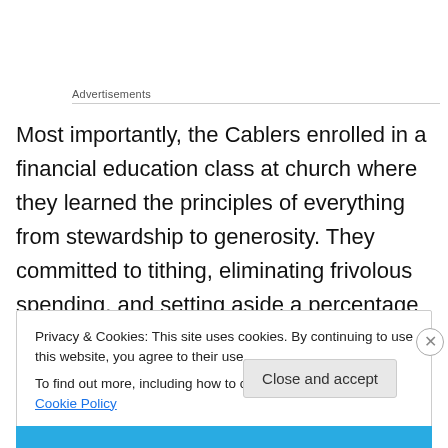Advertisements
Most importantly, the Cablers enrolled in a financial education class at church where they learned the principles of everything from stewardship to generosity. They committed to tithing, eliminating frivolous spending, and setting aside a percentage of their income for a rainy day.
Privacy & Cookies: This site uses cookies. By continuing to use this website, you agree to their use.
To find out more, including how to control cookies, see here: Cookie Policy
Close and accept